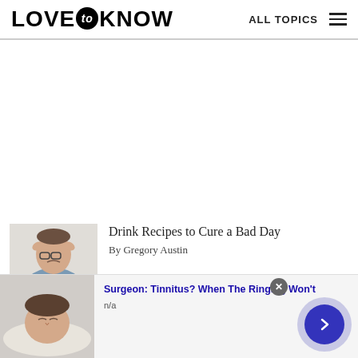LOVE to KNOW — ALL TOPICS
[Figure (other): Large white advertisement area (blank/loading ad)]
[Figure (photo): Stressed man with hands in hair, wearing glasses and a blue shirt]
Drink Recipes to Cure a Bad Day
By Gregory Austin
[Figure (photo): Person lying down with eyes closed, used in tinnitus advertisement]
Surgeon: Tinnitus? When The Ringing Won't
n/a